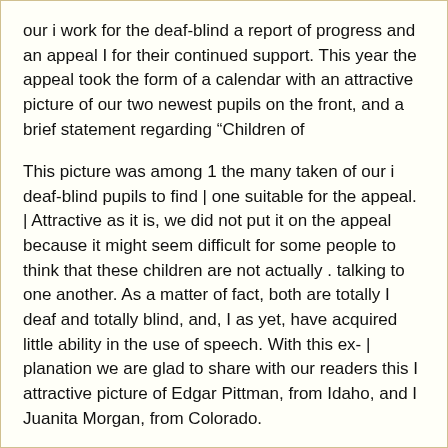our i work for the deaf-blind a report of progress and an appeal I for their continued support. This year the appeal took the form of a calendar with an attractive picture of our two newest pupils on the front, and a brief statement regarding “Children of
This picture was among 1 the many taken of our i deaf-blind pupils to find | one suitable for the appeal. | Attractive as it is, we did not put it on the appeal because it might seem difficult for some people to think that these children are not actually . talking to one another. As a matter of fact, both are totally I deaf and totally blind, and, I as yet, have acquired little ability in the use of speech. With this ex- | planation we are glad to share with our readers this I attractive picture of Edgar Pittman, from Idaho, and I Juanita Morgan, from Colorado.
HELEN KELLER tkiKS TO F. D. ROOSEVELT
Washington, January 26—(AP)— Helen Keller, noted